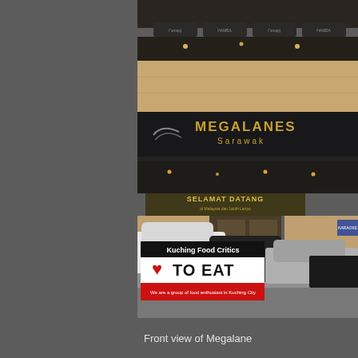[Figure (photo): Front view of Megalanes Sarawak bowling alley building exterior. The building has a prominent dark signboard reading 'MEGALANES Sarawak' in gold lettering with a bowling ball logo. Below it is a green banner reading 'SELAMAT DATANG'. Multiple cars are parked in the foreground. A 'Kuching Food Critics - I LOVE TO EAT' badge overlay is visible in the lower left of the photo. The badge reads 'We are a group of food enthusiast in Kuching City'.]
Front view of Megalane